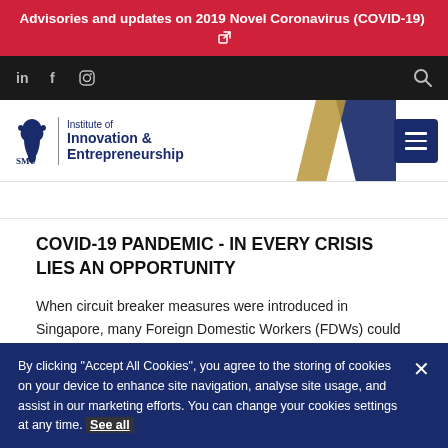Advisories and updates on 2019 Novel Coronavirus (COVID-19)
[Figure (logo): SMU Institute of Innovation & Entrepreneurship logo with lion emblem]
COVID-19 PANDEMIC - IN EVERY CRISIS LIES AN OPPORTUNITY
When circuit breaker measures were introduced in Singapore, many Foreign Domestic Workers (FDWs) could not head to their
By clicking "Accept All Cookies", you agree to the storing of cookies on your device to enhance site navigation, analyse site usage, and assist in our marketing efforts. You can change your cookies settings at any time. See all